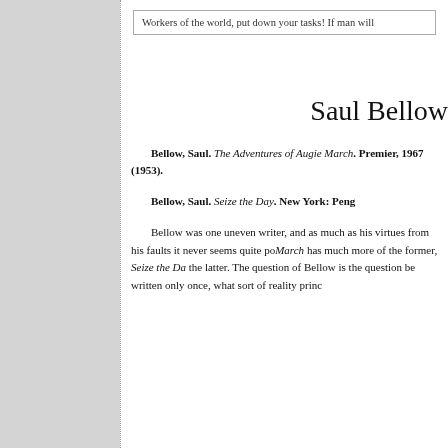Workers of the world, put down your tasks! If man will
Saul Bellow
Bellow, Saul. The Adventures of Augie March. Premier, 1967 (1953).
Bellow, Saul. Seize the Day. New York: Peng
Bellow was one uneven writer, and as much as his virtues from his faults it never seems quite po... March has much more of the former, Seize the Da... the latter. The question of Bellow is the question be written only once, what sort of reality princ